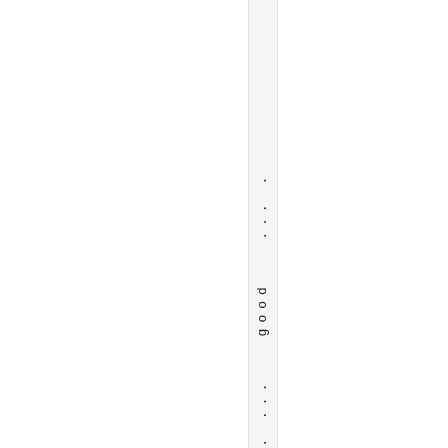" v . ... good ... .
dave January 25